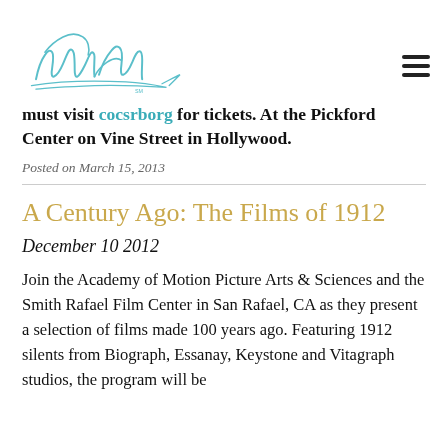[Figure (logo): Mary Pickford signature/logo in teal cursive script]
must visit cocsrborg for tickets. At the Pickford Center on Vine Street in Hollywood.
Posted on March 15, 2013
A Century Ago: The Films of 1912
December 10 2012
Join the Academy of Motion Picture Arts & Sciences and the Smith Rafael Film Center in San Rafael, CA as they present a selection of films made 100 years ago. Featuring 1912 silents from Biograph, Essanay, Keystone and Vitagraph studios, the program will be